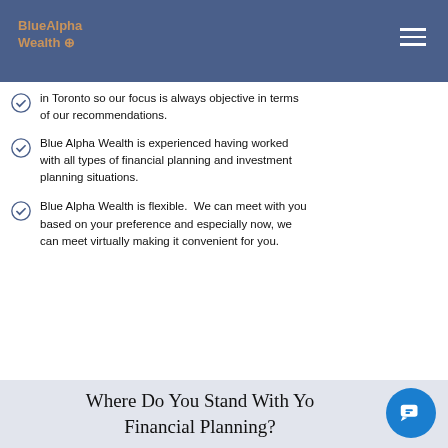BlueAlpha Wealth
in Toronto so our focus is always objective in terms of our recommendations.
Blue Alpha Wealth is experienced having worked with all types of financial planning and investment planning situations.
Blue Alpha Wealth is flexible.  We can meet with you based on your preference and especially now, we can meet virtually making it convenient for you.
Where Do You Stand With Your Financial Planning?